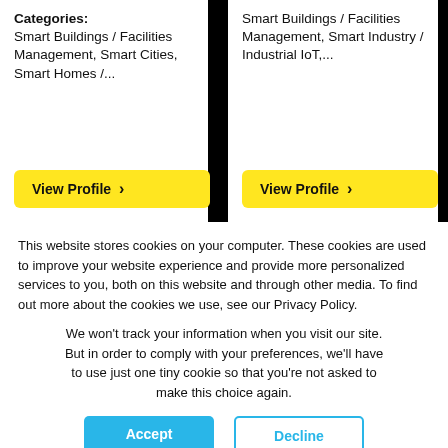Categories: Smart Buildings / Facilities Management, Smart Cities, Smart Homes /...
Smart Buildings / Facilities Management, Smart Industry / Industrial IoT,...
View Profile >
View Profile >
This website stores cookies on your computer. These cookies are used to improve your website experience and provide more personalized services to you, both on this website and through other media. To find out more about the cookies we use, see our Privacy Policy.
We won't track your information when you visit our site. But in order to comply with your preferences, we'll have to use just one tiny cookie so that you're not asked to make this choice again.
Accept
Decline